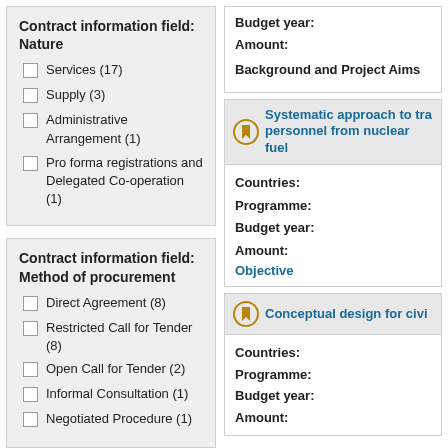Contract information field: Nature
Services (17)
Supply (3)
Administrative Arrangement (1)
Pro forma registrations and Delegated Co-operation (1)
Contract information field: Method of procurement
Direct Agreement (8)
Restricted Call for Tender (8)
Open Call for Tender (2)
Informal Consultation (1)
Negotiated Procedure (1)
Budget year:
Amount:
Background and Project Aims
Systematic approach to training personnel from nuclear fuel...
Countries:
Programme:
Budget year:
Amount:
Objective
Conceptual design for civil...
Countries:
Programme:
Budget year:
Amount: